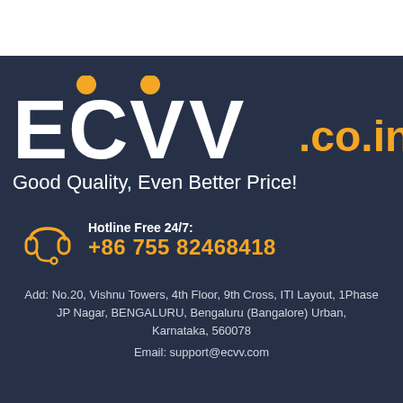[Figure (logo): ECVV.co.in logo with orange dots above the V letters and orange .co.in text on dark navy background]
Good Quality, Even Better Price!
Hotline Free 24/7: +86 755 82468418
Add: No.20, Vishnu Towers, 4th Floor, 9th Cross, ITI Layout, 1Phase JP Nagar, BENGALURU, Bengaluru (Bangalore) Urban, Karnataka, 560078
Email: support@ecvv.com